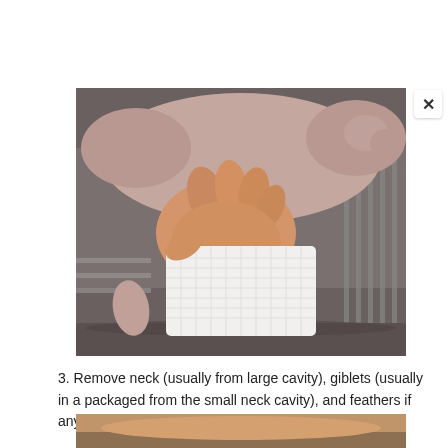[Figure (photo): A hand holding a raw turkey/poultry with a paper towel, patting it dry over a metal roasting rack in a pan.]
3. Remove neck (usually from large cavity), giblets (usually in a packaged from the small neck cavity), and feathers if any.
[Figure (photo): Partial view of a second photo showing a raw turkey or poultry in a roasting pan, bottom portion visible.]